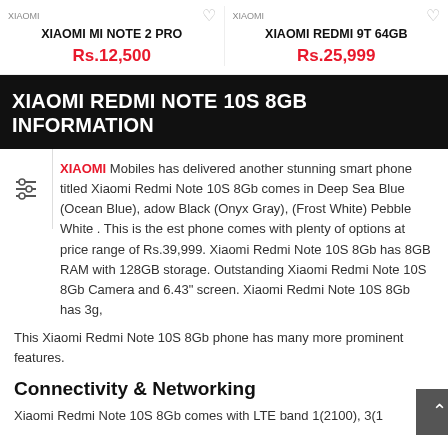XIAOMI
XIAOMI MI NOTE 2 PRO
Rs.12,500
XIAOMI
XIAOMI REDMI 9T 64GB
Rs.25,999
XIAOMI REDMI NOTE 10S 8GB INFORMATION
XIAOMI Mobiles has delivered another stunning smart phone titled Xiaomi Redmi Note 10S 8Gb comes in Deep Sea Blue (Ocean Blue), adow Black (Onyx Gray), (Frost White) Pebble White . This is the est phone comes with plenty of options at price range of Rs.39,999. Xiaomi Redmi Note 10S 8Gb has 8GB RAM with 128GB storage. Outstanding Xiaomi Redmi Note 10S 8Gb Camera and 6.43" screen. Xiaomi Redmi Note 10S 8Gb has 3g,
This Xiaomi Redmi Note 10S 8Gb phone has many more prominent features.
Connectivity & Networking
Xiaomi Redmi Note 10S 8Gb comes with LTE band 1(2100), 3(1